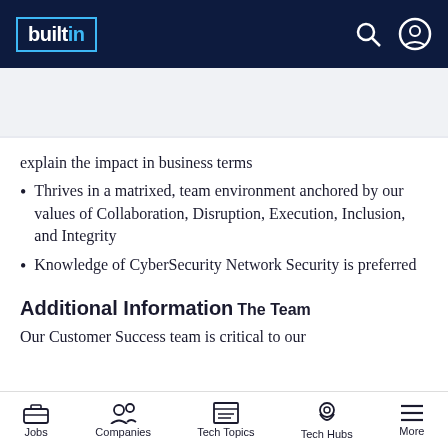builtin [logo with navigation icons]
APPLY NOW   ☆ SAVE
explain the impact in business terms
Thrives in a matrixed, team environment anchored by our values of Collaboration, Disruption, Execution, Inclusion, and Integrity
Knowledge of CyberSecurity Network Security is preferred
Additional Information
The Team
Our Customer Success team is critical to our
Jobs   Companies   Tech Topics   Tech Hubs   More